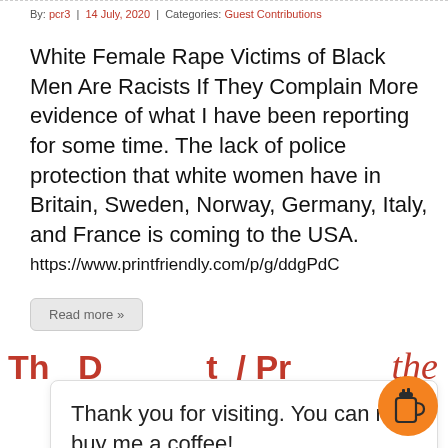By: pcr3  |  14 July, 2020  |  Categories: Guest Contributions
White Female Rape Victims of Black Men Are Racists If They Complain More evidence of what I have been reporting for some time. The lack of police protection that white women have in Britain, Sweden, Norway, Germany, Italy, and France is coming to the USA. https://www.printfriendly.com/p/g/ddgPdC
Read more »
the
Thank you for visiting. You can now buy me a coffee!